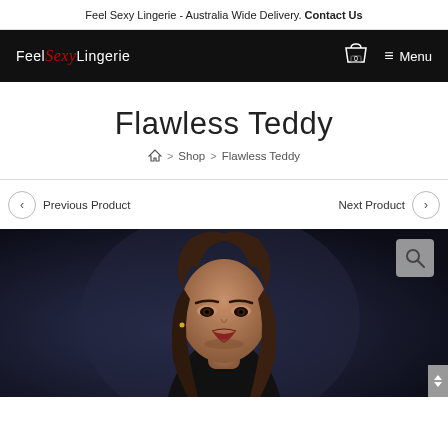Feel Sexy Lingerie - Australia Wide Delivery. Contact Us
[Figure (logo): Feel Sexy Lingerie logo in white and red on black navigation bar, with cart icon showing 0 and hamburger menu labeled Menu]
Flawless Teddy
Home > Shop > Flawless Teddy
Previous Product    Next Product
[Figure (photo): Woman model with dark hair and makeup, dark background, product photo for Flawless Teddy lingerie item]